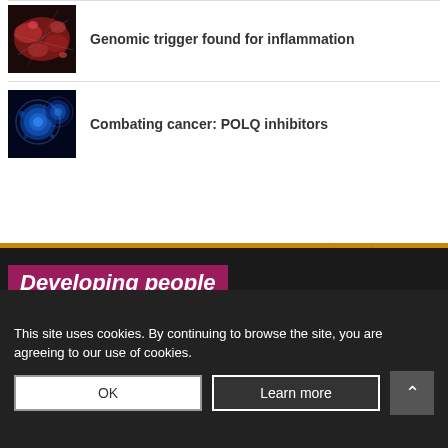[Figure (photo): Microscopic image of inflammation — reddish-pink biological structures on dark background]
Genomic trigger found for inflammation
[Figure (photo): Microscopic image of cancer cells — blue glowing spherical cells on dark background]
Combating cancer: POLQ inhibitors
[Figure (illustration): Dark bottom section with curved decorative element and orange stripe]
Developing people
for health and
healthcare
This site uses cookies. By continuing to browse the site, you are agreeing to our use of cookies.
OK
Learn more